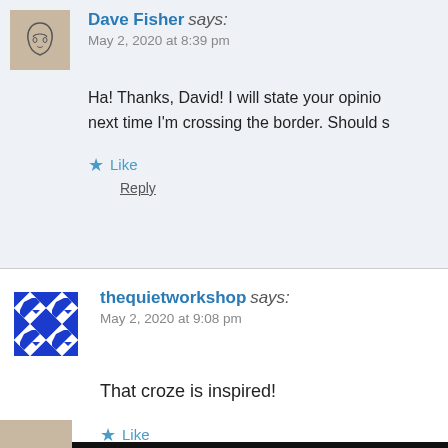Dave Fisher says: May 2, 2020 at 8:39 pm
Ha! Thanks, David! I will state your opinio… next time I'm crossing the border. Should s…
Like
Reply
thequietworkshop says: May 2, 2020 at 9:08 pm
That croze is inspired!
Like
Reply